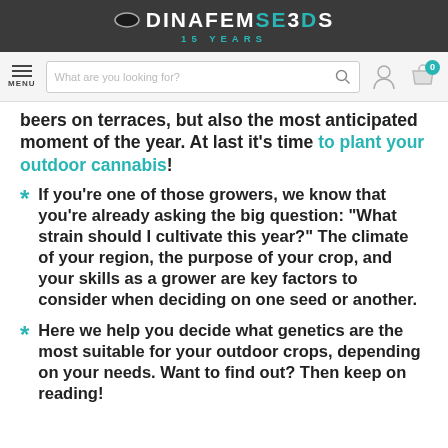DINAFEM SEEDS 15 YEARS
[Figure (screenshot): Navigation bar with hamburger menu, search box, user icon, and cart icon with badge 0]
beers on terraces, but also the most anticipated moment of the year. At last it's time to plant your outdoor cannabis!
If you're one of those growers, we know that you're already asking the big question: "What strain should I cultivate this year?" The climate of your region, the purpose of your crop, and your skills as a grower are key factors to consider when deciding on one seed or another.
Here we help you decide what genetics are the most suitable for your outdoor crops, depending on your needs. Want to find out? Then keep on reading!